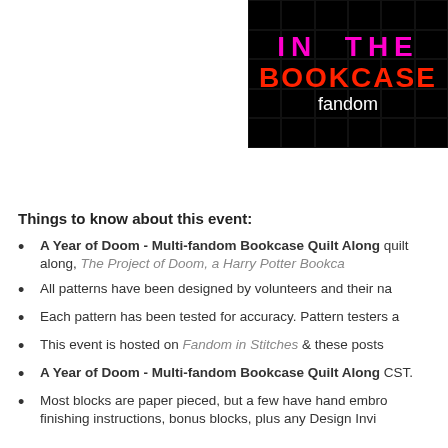[Figure (logo): In The Bookcase fandom logo on black background with grid pattern, 'IN THE' in pink/magenta, 'BOOKCASE' in red, 'fandom' in white cursive]
Things to know about this event:
A Year of Doom - Multi-fandom Bookcase Quilt Along quilt along, The Project of Doom, a Harry Potter Bookcase
All patterns have been designed by volunteers and their na
Each pattern has been tested for accuracy. Pattern testers a
This event is hosted on Fandom in Stitches & these posts
A Year of Doom - Multi-fandom Bookcase Quilt Along CST.
Most blocks are paper pieced, but a few have hand embro finishing instructions, bonus blocks, plus any Design Invi